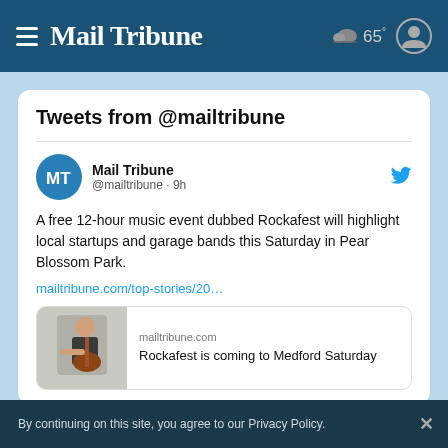Mail Tribune  65°
Tweets from @mailtribune
Mail Tribune @mailtribune · 9h
A free 12-hour music event dubbed Rockafest will highlight local startups and garage bands this Saturday in Pear Blossom Park.
mailtribune.com/top-stories/20…
[Figure (photo): Preview card with photo of guitarist and text: mailtribune.com / Rockafest is coming to Medford Saturday]
By continuing on this site, you agree to our Privacy Policy.